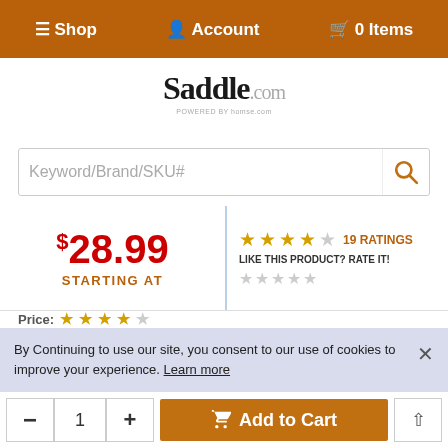Shop  Account  0 Items
[Figure (logo): Saddle.com logo with 'POWERED BY' text below]
Keyword/Brand/SKU#
$28.99 STARTING AT — 19 RATINGS — LIKE THIS PRODUCT? RATE IT!
Price: [stars]
Pet Approval: [3 stars out of 5]
Eh..., 10/16/2008 [3 stars] Unknown from OH
By Continuing to use our site, you consent to our use of cookies to improve your experience. Learn more
- 1 + Add to Cart